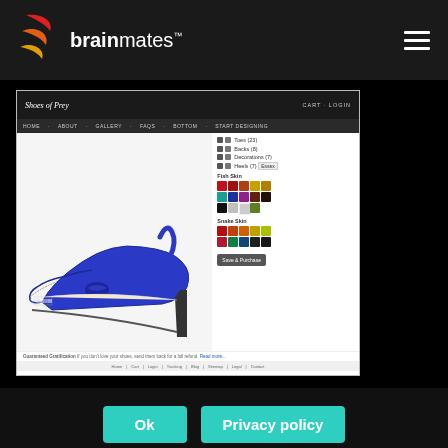[Figure (screenshot): Brainmates website header with logo and hamburger menu on dark background, showing a shoe design tool screenshot (Shoes of Prey) with a high-heel shoe configurator, color swatches, and options panel.]
We use cookies and similar technologies to ensure that we give you the best experience. By clicking 'Ok' on this banner, or using our site, you consent to the use of cookies unless you have disabled them.